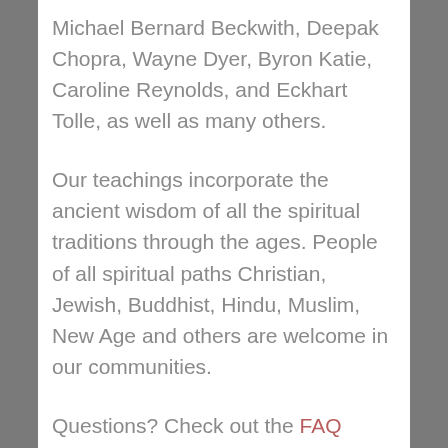Michael Bernard Beckwith, Deepak Chopra, Wayne Dyer, Byron Katie, Caroline Reynolds, and Eckhart Tolle, as well as many others.
Our teachings incorporate the ancient wisdom of all the spiritual traditions through the ages. People of all spiritual paths Christian, Jewish, Buddhist, Hindu, Muslim, New Age and others are welcome in our communities.
Questions? Check out the FAQ page.
Version: Mobile | Web
Created with Weebly   Get the App